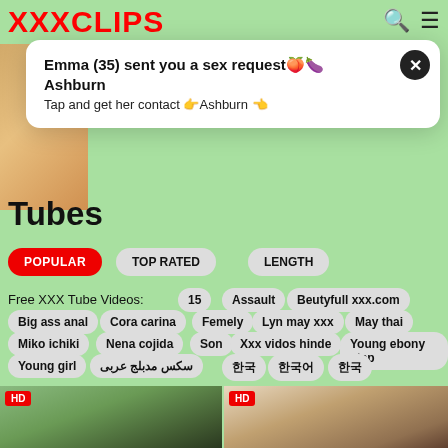XXXCLIPS
[Figure (photo): Thumbnail photo of a woman in orange outfit]
Emma (35) sent you a sex request🍑🍆 Ashburn
Tap and get her contact 👉Ashburn 👈
Tubes
POPULAR
TOP RATED
LENGTH
Free XXX Tube Videos:
15
Assault
Beutyfull xxx.com
Big ass anal
Cora carina
Femely
Lyn may xxx
May thai
Miko ichiki
Nena cojida
Son
Xxx vidos hinde
Young ebony step
Young girl
سکس مدبلج عربی
한국
한국어
한국
[Figure (photo): HD video thumbnail showing a couple outdoors]
[Figure (photo): HD video thumbnail showing two women indoors]